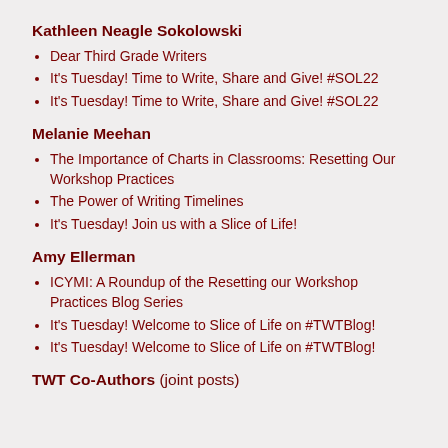Kathleen Neagle Sokolowski
Dear Third Grade Writers
It's Tuesday! Time to Write, Share and Give! #SOL22
It's Tuesday! Time to Write, Share and Give! #SOL22
Melanie Meehan
The Importance of Charts in Classrooms: Resetting Our Workshop Practices
The Power of Writing Timelines
It's Tuesday! Join us with a Slice of Life!
Amy Ellerman
ICYMI: A Roundup of the Resetting our Workshop Practices Blog Series
It's Tuesday! Welcome to Slice of Life on #TWTBlog!
It's Tuesday! Welcome to Slice of Life on #TWTBlog!
TWT Co-Authors (joint posts)